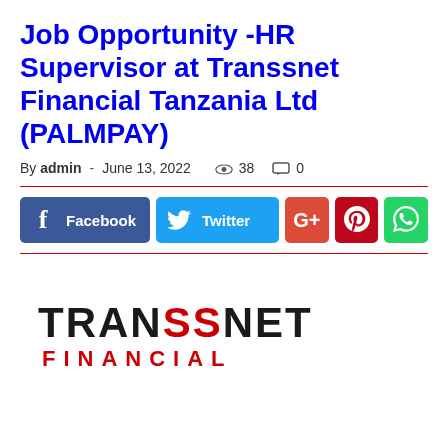Job Opportunity -HR Supervisor at Transsnet Financial Tanzania Ltd (PALMPAY)
By admin - June 13, 2022   38   0
[Figure (infographic): Social media share buttons: Facebook, Twitter, Google+, Pinterest, WhatsApp]
[Figure (logo): Transsnet Financial logo — black bold lettering TRANSSNET with red accent S characters, and FINANCIAL in red below]